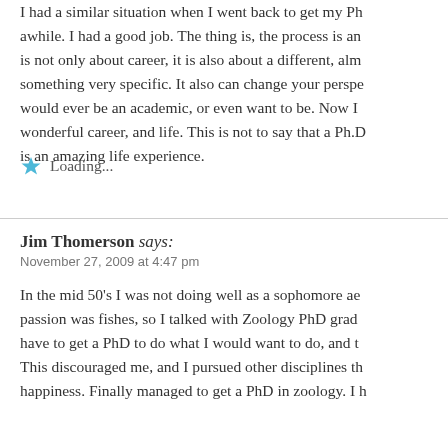I had a similar situation when I went back to get my Ph... awhile. I had a good job. The thing is, the process is an... is not only about career, it is also about a different, alm... something very specific. It also can change your perspe... would ever be an academic, or even want to be. Now I... wonderful career, and life. This is not to say that a Ph.D... is an amazing life experience.
Loading...
Jim Thomerson says:
November 27, 2009 at 4:47 pm
In the mid 50's I was not doing well as a sophomore ae... passion was fishes, so I talked with Zoology PhD grad... have to get a PhD to do what I would want to do, and t... This discouraged me, and I pursued other disciplines th... happiness. Finally managed to get a PhD in zoology. I h...